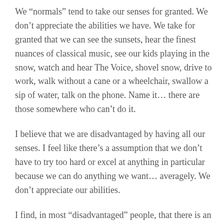We “normals” tend to take our senses for granted. We don’t appreciate the abilities we have. We take for granted that we can see the sunsets, hear the finest nuances of classical music, see our kids playing in the snow, watch and hear The Voice, shovel snow, drive to work, walk without a cane or a wheelchair, swallow a sip of water, talk on the phone. Name it… there are those somewhere who can’t do it.
I believe that we are disadvantaged by having all our senses. I feel like there’s a assumption that we don’t have to try too hard or excel at anything in particular because we can do anything we want… averagely. We don’t appreciate our abilities.
I find, in most “disadvantaged” people, that there is an increased passion in the abilities that they DO have. And excellence in developing the abilities that they HAVEN’T lost. And I think it would do us all good to thank God for what we have, and use them to the very